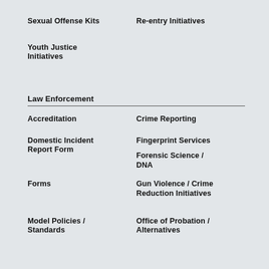Sexual Offense Kits
Re-entry Initiatives
Youth Justice Initiatives
Law Enforcement
Accreditation
Crime Reporting
Domestic Incident Report Form
Fingerprint Services
Forensic Science / DNA
Forms
Gun Violence / Crime Reduction Initiatives
Model Policies / Standards
Office of Probation / Alternatives